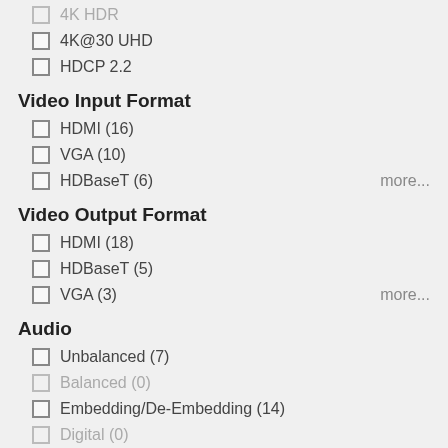4K HDR
4K@30 UHD
HDCP 2.2
Video Input Format
HDMI (16)
VGA (10)
HDBaseT (6)
Video Output Format
HDMI (18)
HDBaseT (5)
VGA (3)
Audio
Unbalanced (7)
Balanced (0)
Embedding/De-Embedding (14)
Digital (0)
Speaker (0)